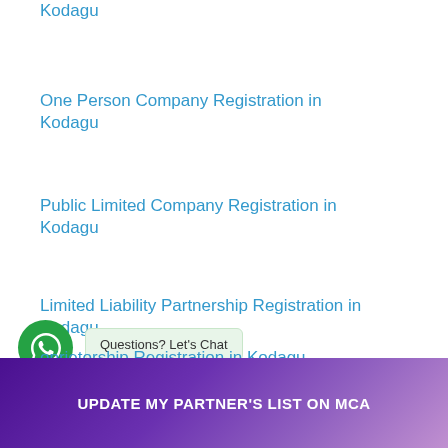Kodagu
One Person Company Registration in Kodagu
Public Limited Company Registration in Kodagu
Limited Liability Partnership Registration in Kodagu
...oprietorship Registration in Kodagu
Questions? Let's Chat
UPDATE MY PARTNER'S LIST ON MCA